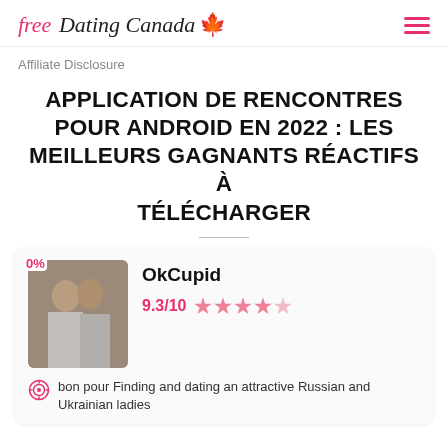free Dating Canada ♦
Affiliate Disclosure
APPLICATION DE RENCONTRES POUR ANDROID EN 2022 : LES MEILLEURS GAGNANTS RÉACTIFS À TÉLÉCHARGER
OkCupid
9.3/10 ★★★★½
0%
bon pour Finding and dating an attractive Russian and Ukrainian ladies